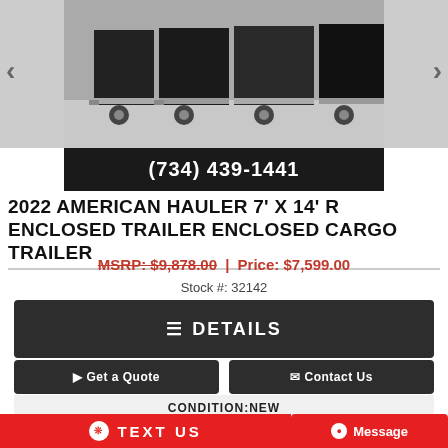[Figure (photo): Enclosed cargo trailers in a row, black and silver, viewed from the side in a lot]
(734) 439-1441
2022 AMERICAN HAULER 7' X 14' R ENCLOSED TRAILER ENCLOSED CARGO TRAILER
MSRP: $9,878.00 | Price: $7,599.00
Stock #: 32142
≡ DETAILS
Get a Quote
Contact Us
CONDITION:NEW
LOCATION: MILAN, MI
TEXT US
Message